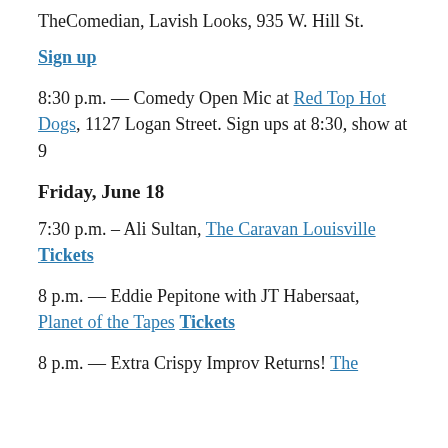TheComedian, Lavish Looks, 935 W. Hill St.
Sign up
8:30 p.m. — Comedy Open Mic at Red Top Hot Dogs, 1127 Logan Street. Sign ups at 8:30, show at 9
Friday, June 18
7:30 p.m. – Ali Sultan, The Caravan Louisville Tickets
8 p.m. — Eddie Pepitone with JT Habersaat, Planet of the Tapes Tickets
8 p.m. — Extra Crispy Improv Returns! The